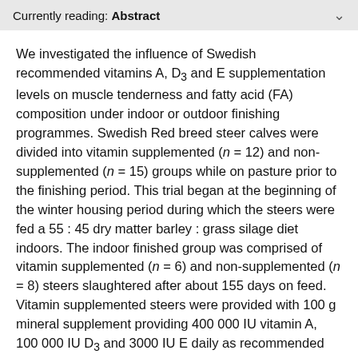Currently reading: Abstract
We investigated the influence of Swedish recommended vitamins A, D3 and E supplementation levels on muscle tenderness and fatty acid (FA) composition under indoor or outdoor finishing programmes. Swedish Red breed steer calves were divided into vitamin supplemented (n = 12) and non-supplemented (n = 15) groups while on pasture prior to the finishing period. This trial began at the beginning of the winter housing period during which the steers were fed a 55 : 45 dry matter barley : grass silage diet indoors. The indoor finished group was comprised of vitamin supplemented (n = 6) and non-supplemented (n = 8) steers slaughtered after about 155 days on feed. Vitamin supplemented steers were provided with 100 g mineral supplement providing 400 000 IU vitamin A, 100 000 IU D3 and 3000 IU E daily as recommended for Swedish production practices. In